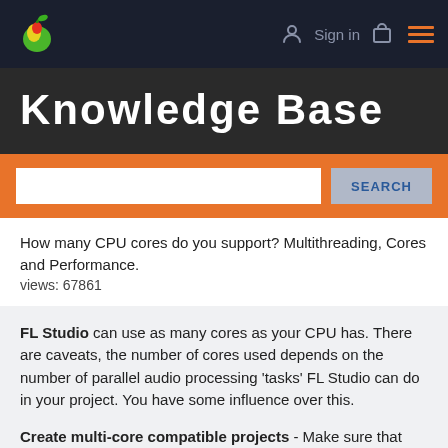FL Studio Knowledge Base - Sign in
Knowledge Base
How many CPU cores do you support? Multithreading, Cores and Performance.
views: 67861
FL Studio can use as many cores as your CPU has. There are caveats, the number of cores used depends on the number of parallel audio processing 'tasks' FL Studio can do in your project. You have some influence over this.
Create multi-core compatible projects - Make sure that your highest CPU using plugins are routed to completely independent Mixer Tracks without any shared 'Send'